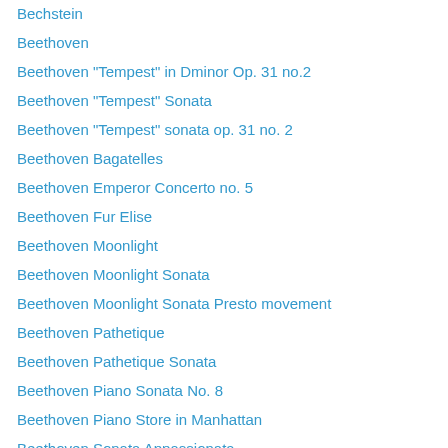Bechstein
Beethoven
Beethoven "Tempest" in Dminor Op. 31 no.2
Beethoven "Tempest" Sonata
Beethoven "Tempest" sonata op. 31 no. 2
Beethoven Bagatelles
Beethoven Emperor Concerto no. 5
Beethoven Fur Elise
Beethoven Moonlight
Beethoven Moonlight Sonata
Beethoven Moonlight Sonata Presto movement
Beethoven Pathetique
Beethoven Pathetique Sonata
Beethoven Piano Sonata No. 8
Beethoven Piano Store in Manhattan
Beethoven Sonata Appassionata
Beethoven Sonata no. 18 Op. 31 no.3 second movement
Beethoven Sonata Op. 31 no 2
Beethoven Sonata Pathetique
Beethoven Sonata Pathetique op. 13 in c minor